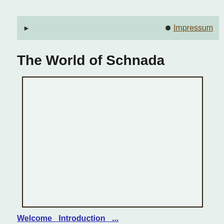▶  ● Impressum
The World of Schnada
[Figure (other): Empty bordered rectangular image box with light background]
Welcome Introduction...